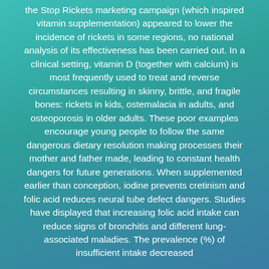the Stop Rickets marketing campaign (which inspired vitamin supplementation) appeared to lower the incidence of rickets in some regions, no national analysis of its effectiveness has been carried out. In a clinical setting, vitamin D (together with calcium) is most frequently used to treat and reverse circumstances resulting in skinny, brittle, and fragile bones: rickets in kids, ostemalacia in adults, and osteoporosis in older adults. These poor examples encourage young people to follow the same dangerous dietary resolution making processes their mother and father made, leading to constant health dangers for future generations. When supplemented earlier than conception, iodine prevents cretinism and folic acid reduces neural tube defect dangers. Studies have displayed that increasing folic acid intake can reduce signs of bronchitis and different lung-associated maladies. The prevalence (%) of insufficient intake decreased